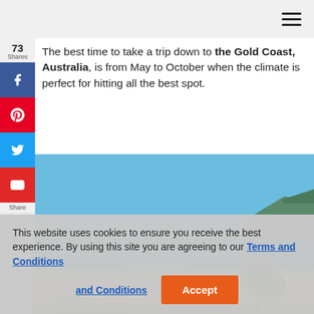The best time to take a trip down to the Gold Coast, Australia, is from May to October when the climate is perfect for hitting all the best spot.
[Figure (photo): Beach scene at Gold Coast, Australia — blue sky, turquoise ocean, sandy beach, green shrubs in foreground, city skyline and hills in background]
This website uses cookies to ensure you receive the best experience. By using this site you are agreeing to our Terms and Conditions